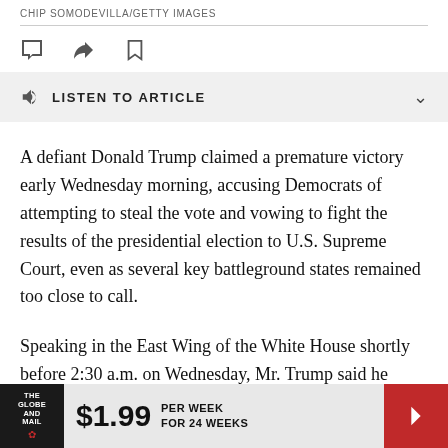CHIP SOMODEVILLA/GETTY IMAGES
[Figure (screenshot): Toolbar with comment, share, and bookmark icons]
[Figure (screenshot): Listen to article audio player bar with speaker icon and chevron]
A defiant Donald Trump claimed a premature victory early Wednesday morning, accusing Democrats of attempting to steal the vote and vowing to fight the results of the presidential election to U.S. Supreme Court, even as several key battleground states remained too close to call.
Speaking in the East Wing of the White House shortly before 2:30 a.m. on Wednesday, Mr. Trump said he believed he won the election. “We were
[Figure (infographic): The Globe and Mail advertisement banner: $1.99 per week for 24 weeks]